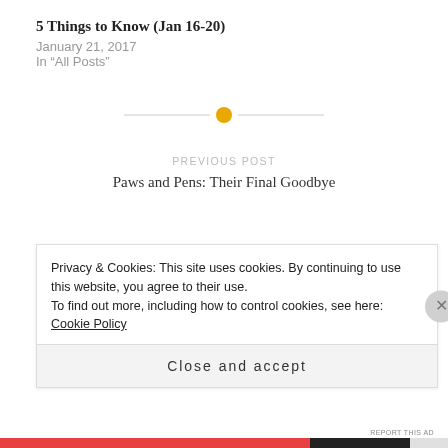5 Things to Know (Jan 16-20)
January 21, 2017
In "All Posts"
[Figure (other): Decorative horizontal divider with an orange/gold dot in the center flanked by lines]
PREVIOUS POST
Paws and Pens: Their Final Goodbye
Privacy & Cookies: This site uses cookies. By continuing to use this website, you agree to their use.
To find out more, including how to control cookies, see here: Cookie Policy
Close and accept